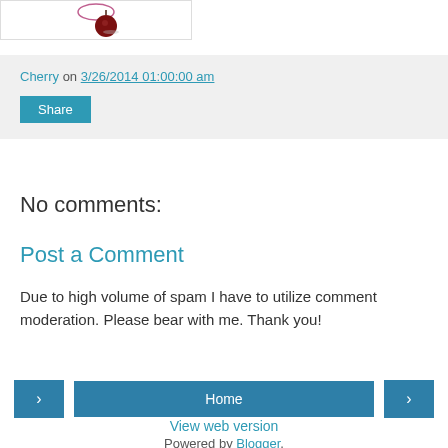[Figure (photo): Image block showing a cherry/apple illustration at the top of the page]
Cherry on 3/26/2014 01:00:00 am
Share
No comments:
Post a Comment
Due to high volume of spam I have to utilize comment moderation. Please bear with me. Thank you!
< Home >
View web version
Powered by Blogger.